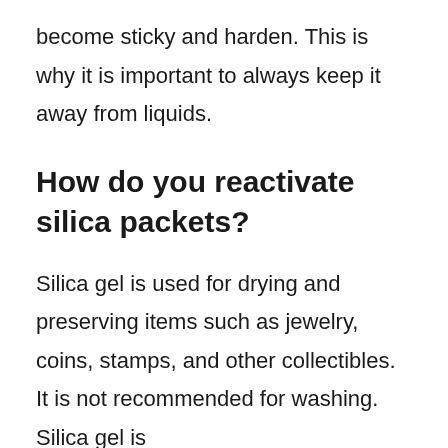become sticky and harden. This is why it is important to always keep it away from liquids.
How do you reactivate silica packets?
Silica gel is used for drying and preserving items such as jewelry, coins, stamps, and other collectibles. It is not recommended for washing. Silica gel is